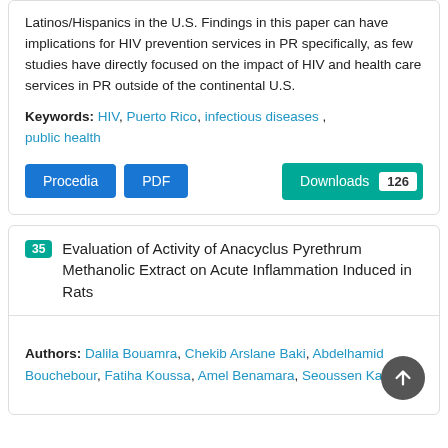Latinos/Hispanics in the U.S. Findings in this paper can have implications for HIV prevention services in PR specifically, as few studies have directly focused on the impact of HIV and health care services in PR outside of the continental U.S.
Keywords: HIV, Puerto Rico, infectious diseases , public health
Procedia | PDF | Downloads 126
35 Evaluation of Activity of Anacyclus Pyrethrum Methanolic Extract on Acute Inflammation Induced in Rats
Authors: Dalila Bouamra, Chekib Arslane Baki, Abdelhamid Bouchebour, Fatiha Koussa, Amel Benamara, Seoussen Kada